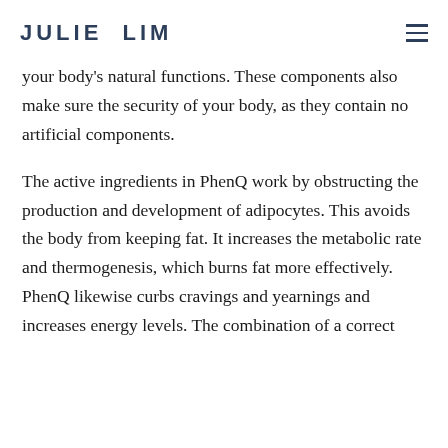JULIE LIM
your body's natural functions. These components also make sure the security of your body, as they contain no artificial components.
The active ingredients in PhenQ work by obstructing the production and development of adipocytes. This avoids the body from keeping fat. It increases the metabolic rate and thermogenesis, which burns fat more effectively. PhenQ likewise curbs cravings and yearnings and increases energy levels. The combination of a correct